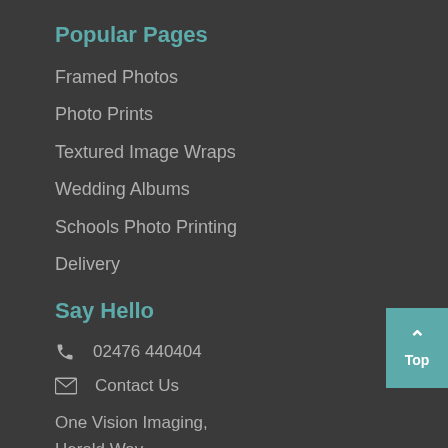Popular Pages
Framed Photos
Photo Prints
Textured Image Wraps
Wedding Albums
Schools Photo Printing
Delivery
Say Hello
02476 440404
Contact Us
One Vision Imaging,
Herald Way,
Coventry,